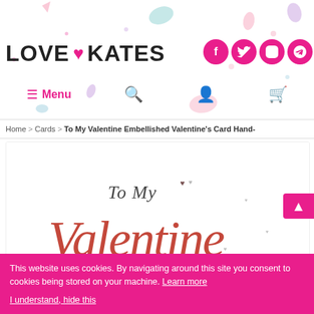[Figure (logo): Love Kates logo with heart symbol and social media icons (Facebook, Twitter, Pinterest, Instagram)]
≡ Menu  🔍  👤  🛒
Home > Cards > To My Valentine Embellished Valentine's Card Hand-
[Figure (photo): Valentine's card product image showing 'To My Valentine' in elegant script with small heart decorations on white background]
This website uses cookies. By navigating around this site you consent to cookies being stored on your machine. Learn more

I understand, hide this